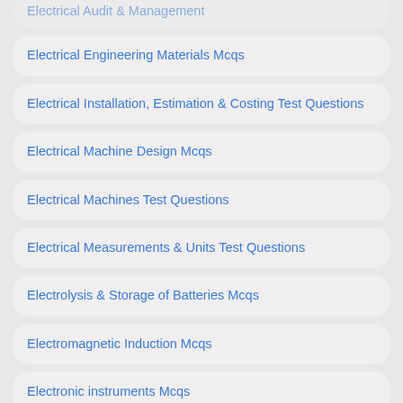Electrical Audit & Management
Electrical Engineering Materials Mcqs
Electrical Installation, Estimation & Costing Test Questions
Electrical Machine Design Mcqs
Electrical Machines Test Questions
Electrical Measurements & Units Test Questions
Electrolysis & Storage of Batteries Mcqs
Electromagnetic Induction Mcqs
Electronic instruments Mcqs
Electrostatics Mcqs